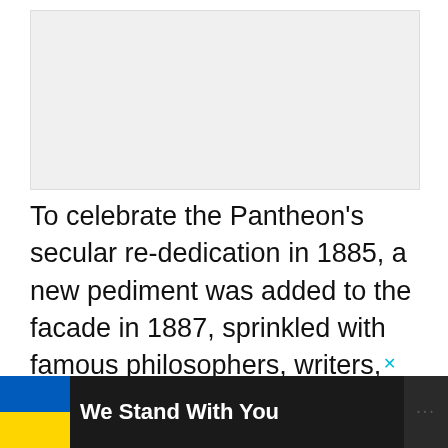[Figure (photo): Image placeholder area at top of page, light gray background]
To celebrate the Pantheon's secular re-dedication in 1885, a new pediment was added to the facade in 1887, sprinkled with famous philosophers, writers, and patriots. The sculptures were
[Figure (infographic): Advertisement banner at bottom: Ukrainian flag icon on left, bold white text 'We Stand With You', close button X, and logo dots on right, dark background]